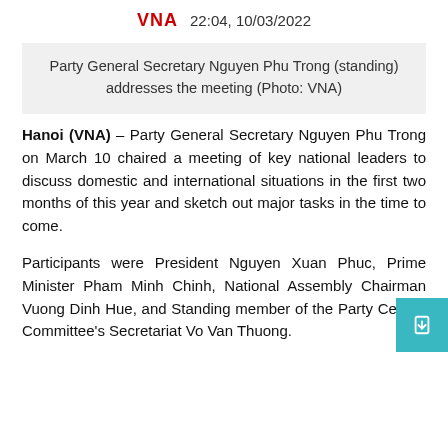VNA   22:04, 10/03/2022
Party General Secretary Nguyen Phu Trong (standing) addresses the meeting (Photo: VNA)
Hanoi (VNA) – Party General Secretary Nguyen Phu Trong on March 10 chaired a meeting of key national leaders to discuss domestic and international situations in the first two months of this year and sketch out major tasks in the time to come.
Participants were President Nguyen Xuan Phuc, Prime Minister Pham Minh Chinh, National Assembly Chairman Vuong Dinh Hue, and Standing member of the Party Central Committee's Secretariat Vo Van Thuong.